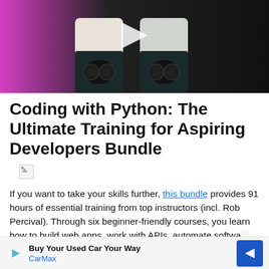[Figure (screenshot): Video thumbnail showing two Samsung Galaxy Z Flip phones side by side against a dark background with pink/magenta accent on the left. A white play button triangle is visible in the center. Partial text 'NOT THE SAME' visible at top.]
Coding with Python: The Ultimate Training for Aspiring Developers Bundle
[Figure (illustration): Broken/missing image placeholder icon]
If you want to take your skills further, this bundle provides 91 hours of essential training from top instructors (incl. Rob Percival). Through six beginner-friendly courses, you learn how to build web apps, work with APIs, automate softwa[re...] rth $691, [...]
Buy Your Used Car Your Way
CarMax